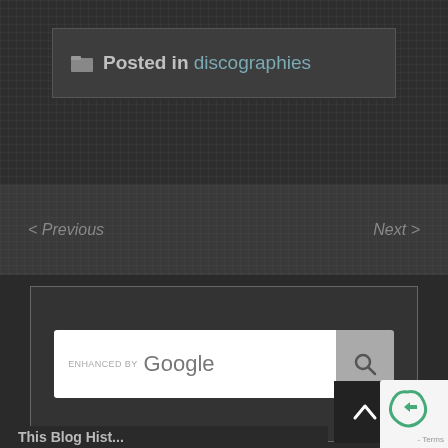Posted in discographies
< Previous
Next >
[Figure (screenshot): Google enhanced search widget with search input field and search button]
[Figure (illustration): Follow us on Facebook button/banner]
[Figure (screenshot): Back to top arrow button (dark square with upward chevron)]
This Blog Hist...